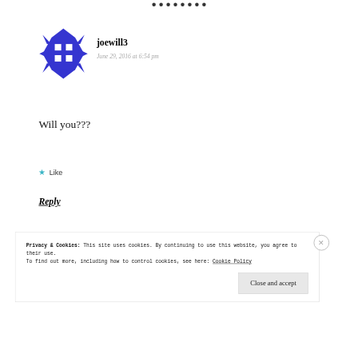[Figure (illustration): Blue geometric snowflake-style avatar icon for user joewill3]
joewill3
June 29, 2016 at 6:54 pm
Will you???
★ Like
Reply
Privacy & Cookies: This site uses cookies. By continuing to use this website, you agree to their use.
To find out more, including how to control cookies, see here: Cookie Policy
Close and accept